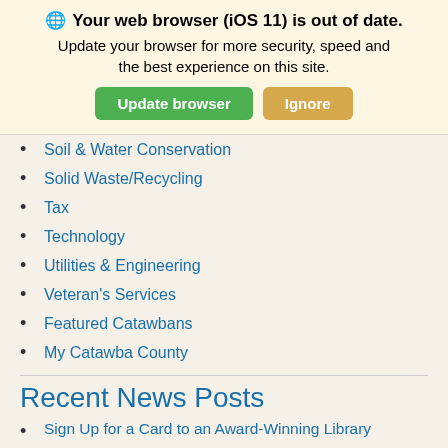🌐 Your web browser (iOS 11) is out of date. Update your browser for more security, speed and the best experience on this site.
Soil & Water Conservation
Solid Waste/Recycling
Tax
Technology
Utilities & Engineering
Veteran's Services
Featured Catawbans
My Catawba County
Recent News Posts
Sign Up for a Card to an Award-Winning Library
Reading List but Make It Pumpkin Spice
County Government Labor Day Holiday Schedule
This Week @ Your Library August 26 - September